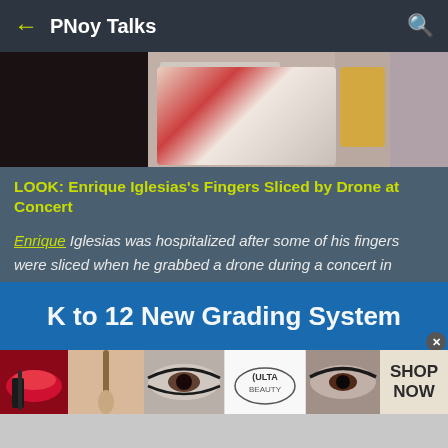PNoy Talks
[Figure (photo): Hero image showing a person performing at a concert, partially obscured, with blood visible]
LOOK: Enrique Iglesias's Fingers Sliced by Drone at Concert
Enrique Iglesias was hospitalized after some of his fingers were sliced when he grabbed a drone during a concert in Tijuana, Mexico. Credits: Instragram
[Figure (screenshot): Blue banner with text 'K to 12 New Grading System']
[Figure (photo): Advertisement banner for ULTA beauty with makeup images and SHOP NOW call to action]